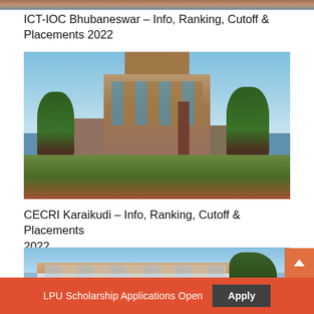[Figure (photo): Top partial image strip - appears to be a building or campus photo cropped at top]
ICT-IOC Bhubaneswar – Info, Ranking, Cutoff & Placements 2022
[Figure (photo): Photo of CECRI Karaikudi building - Art Deco style multi-story building with trees under blue sky]
CECRI Karaikudi – Info, Ranking, Cutoff & Placements 2022
[Figure (photo): Partial photo of another institution building - modern multi-story building with palm trees]
LPU Scholarship Applications Open
Apply